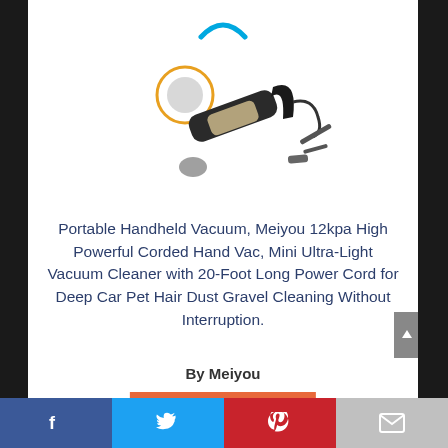[Figure (photo): Partial Amazon logo (blue arc/smile) visible at top of page]
[Figure (photo): Product image of Meiyou portable handheld vacuum cleaner with attachments, shown on white background with orange circular highlight on filter]
Portable Handheld Vacuum, Meiyou 12kpa High Powerful Corded Hand Vac, Mini Ultra-Light Vacuum Cleaner with 20-Foot Long Power Cord for Deep Car Pet Hair Dust Gravel Cleaning Without Interruption.
By Meiyou
View Product
8.4
Facebook | Twitter | Pinterest | Email